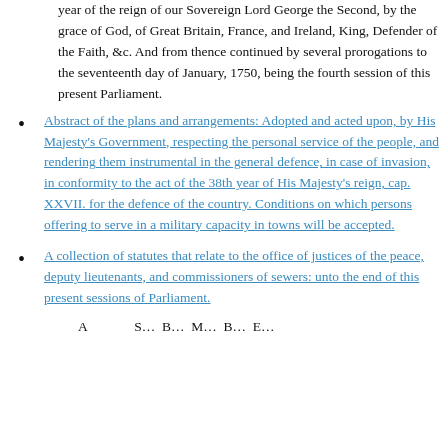year of the reign of our Sovereign Lord George the Second, by the grace of God, of Great Britain, France, and Ireland, King, Defender of the Faith, &c. And from thence continued by several prorogations to the seventeenth day of January, 1750, being the fourth session of this present Parliament.
Abstract of the plans and arrangements: Adopted and acted upon, by His Majesty's Government, respecting the personal service of the people, and rendering them instrumental in the general defence, in case of invasion, in conformity to the act of the 38th year of His Majesty's reign, cap. XXVII. for the defence of the country. Conditions on which persons offering to serve in a military capacity in towns will be accepted.
A collection of statutes that relate to the office of justices of the peace, deputy lieutenants, and commissioners of sewers: unto the end of this present sessions of Parliament.
A... ...i G...ii D...ii M...ii D...ii F...i...